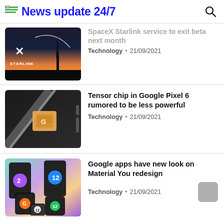News update 24/7
[Figure (photo): Starlink logo with rocket launch silhouette at sunset]
SpaceX Starlink service to exit beta next month
Technology · 21/09/2021
[Figure (photo): Google Pixel 6 Tensor chip close-up on dark background]
Tensor chip in Google Pixel 6 rumored to be less powerful
Technology · 21/09/2021
[Figure (photo): Multiple Android phones showing Material You redesign with colorful backgrounds]
Google apps have new look on Material You redesign
Technology · 21/09/2021